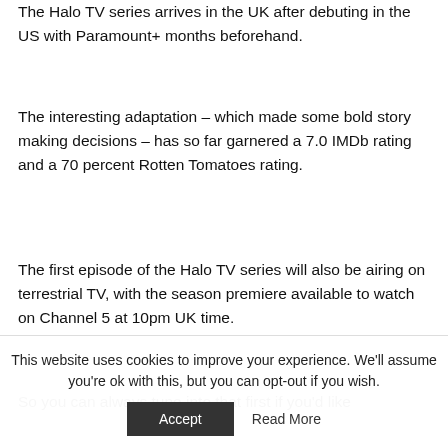The Halo TV series arrives in the UK after debuting in the US with Paramount+ months beforehand.
The interesting adaptation – which made some bold story making decisions – has so far garnered a 7.0 IMDb rating and a 70 percent Rotten Tomatoes rating.
The first episode of the Halo TV series will also be airing on terrestrial TV, with the season premiere available to watch on Channel 5 at 10pm UK time.
So you can always tune into that first if you'd like
This website uses cookies to improve your experience. We'll assume you're ok with this, but you can opt-out if you wish.
Accept  Read More